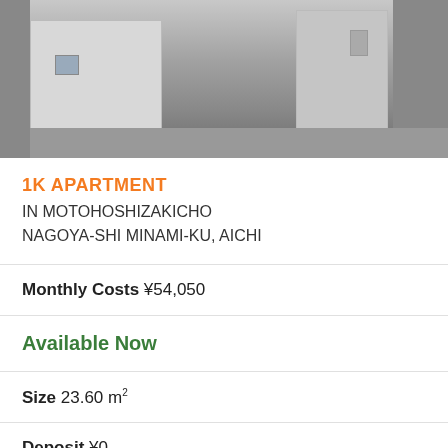[Figure (photo): Exterior photo of a multi-story apartment building in Japan, showing a grey concrete facade with neighboring buildings]
1K APARTMENT IN MOTOHOSHIZAKICHO NAGOYA-SHI MINAMI-KU, AICHI
Monthly Costs ¥54,050
Available Now
Size 23.60 m²
Deposit ¥0
Key Money ¥48,000
Floor 3 / 3F